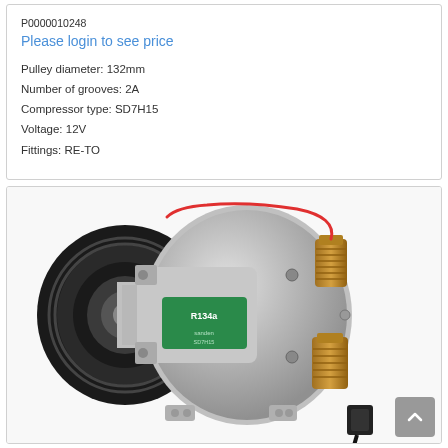Please login to see price
Pulley diameter: 132mm
Number of grooves: 2A
Compressor type: SD7H15
Voltage: 12V
Fittings: RE-TO
[Figure (photo): AC compressor (SD7H15 type) with black pulley/clutch assembly on left, silver aluminum body, green R134a refrigerant label, gold/brass fittings on right side, red wire connector at top, black electrical connector at bottom right.]